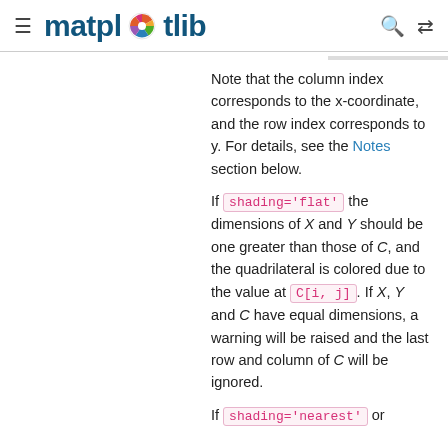≡ matplotlib [search icon] [menu icon]
Note that the column index corresponds to the x-coordinate, and the row index corresponds to y. For details, see the Notes section below.
If shading='flat' the dimensions of X and Y should be one greater than those of C, and the quadrilateral is colored due to the value at C[i, j]. If X, Y and C have equal dimensions, a warning will be raised and the last row and column of C will be ignored.
If shading='nearest' or